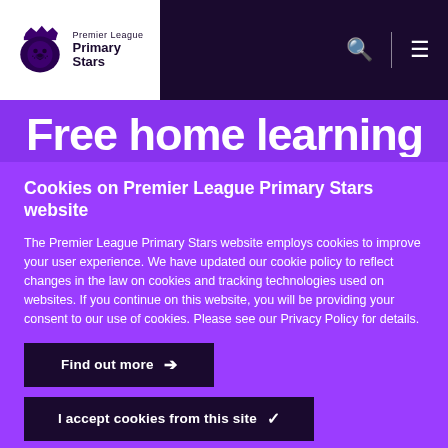Premier League Primary Stars
Free home learning
Cookies on Premier League Primary Stars website
The Premier League Primary Stars website employs cookies to improve your user experience. We have updated our cookie policy to reflect changes in the law on cookies and tracking technologies used on websites. If you continue on this website, you will be providing your consent to our use of cookies. Please see our Privacy Policy for details.
Find out more →
I accept cookies from this site ✓